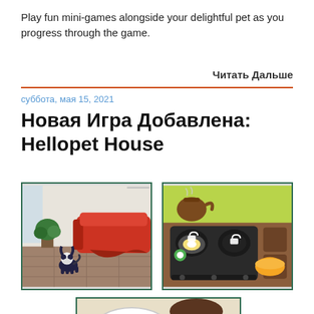Play fun mini-games alongside your delightful pet as you progress through the game.
Читать Дальше
суббота, мая 15, 2021
Новая Игра Добавлена: Hellopet House
[Figure (screenshot): Game screenshot showing a small dog character in a living room with a red sofa and wood floor]
[Figure (screenshot): Game screenshot showing a cooking mini-game with a kettle, stove, egg, and orange bowl]
[Figure (screenshot): Game screenshot showing a female character with a thought bubble saying 'Time Remaining 18:26']